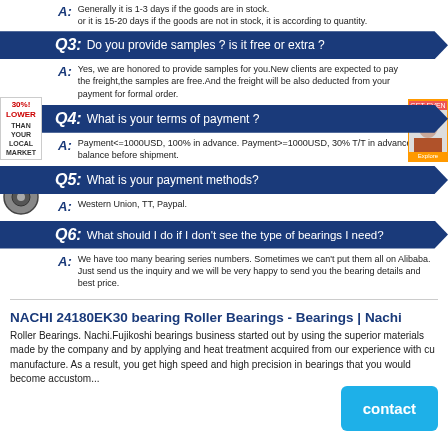A: Generally it is 1-3 days if the goods are in stock. or it is 15-20 days if the goods are not in stock, it is according to quantity.
Q3: Do you provide samples ? is it free or extra ?
A: Yes, we are honored to provide samples for you.New clients are expected to pay the freight,the samples are free.And the freight will be also deducted from your payment for formal order.
Q4: What is your terms of payment ?
A: Payment<=1000USD, 100% in advance. Payment>=1000USD, 30% T/T in advance balance before shipment.
Q5: What is your payment methods?
A: Western Union, TT, Paypal.
Q6: What should I do if I don't see the type of bearings I need?
A: We have too many bearing series numbers. Sometimes we can't put them all on Alibaba. Just send us the inquiry and we will be very happy to send you the bearing details and best price.
NACHI 24180EK30 bearing Roller Bearings - Bearings | Nachi
Roller Bearings. Nachi.Fujikoshi bearings business started out by using the superior materials made by the company and by applying and heat treatment acquired from our experience with cu manufacture. As a result, you get high speed and high precision in bearings that you would become accustom...